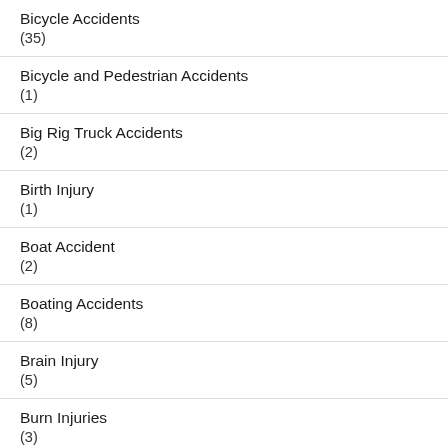Bicycle Accidents (35)
Bicycle and Pedestrian Accidents (1)
Big Rig Truck Accidents (2)
Birth Injury (1)
Boat Accident (2)
Boating Accidents (8)
Brain Injury (5)
Burn Injuries (3)